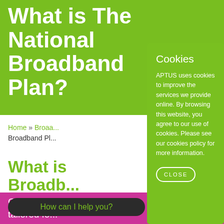What is The National Broadband Plan?
Home » Broadband Plan
Broadband Pl...
What is Broadband...
Get the be... tailored fo...
[Figure (screenshot): Cookie consent modal dialog with green background overlaid on a webpage about the National Broadband Plan. The modal contains: title 'Cookies', body text 'APTUS uses cookies to improve the services we provide online. By browsing this website, you agree to our use of cookies. Please see our cookies policy for more information.', and a CLOSE button with rounded border.]
How can I help you?
check coverage